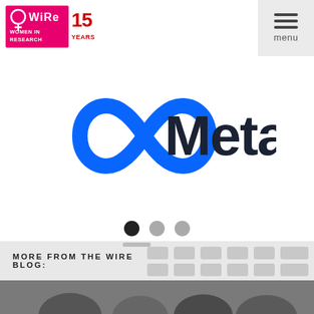[Figure (logo): WiRe Women in Research 15 Years logo — pink and white logo with female symbol, bold pink text WIRE, smaller text WOMEN IN RESEARCH, and 15 YEARS in red/orange stylized font]
[Figure (illustration): Hamburger menu icon (three horizontal bars) above the word 'menu' in a light gray square button]
[Figure (logo): Meta logo — blue infinity symbol followed by bold dark text 'Meta']
[Figure (other): Carousel pagination: three dots — first dot dark/active, second and third dots gray/inactive]
MORE FROM THE WIRE BLOG:
[Figure (photo): Bottom photo strip showing people's heads/shoulders, partially cropped]